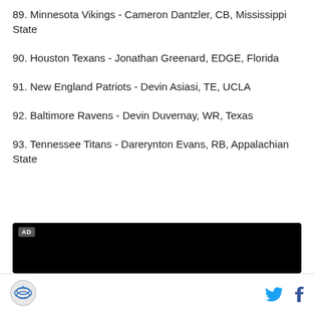89. Minnesota Vikings - Cameron Dantzler, CB, Mississippi State
90. Houston Texans - Jonathan Greenard, EDGE, Florida
91. New England Patriots - Devin Asiasi, TE, UCLA
92. Baltimore Ravens - Devin Duvernay, WR, Texas
93. Tennessee Titans - Darerynton Evans, RB, Appalachian State
[Figure (other): Advertisement black box with AD label]
Site logo, Twitter icon, Facebook icon